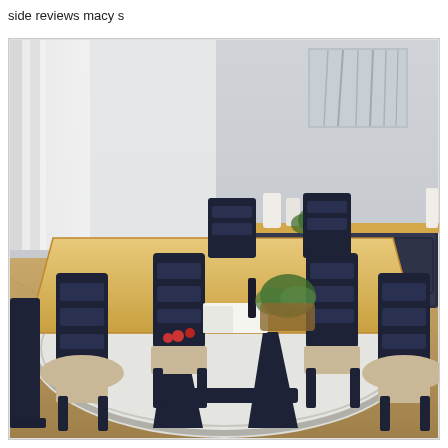side reviews macy s
[Figure (photo): A dining room set featuring a rectangular wooden table with a natural oak top and dark navy/charcoal painted legs, surrounded by six matching ladder-back chairs with beige cushioned seats. The scene is set on a light grey bordered rug over a herringbone parquet floor. In the background, a sideboard/buffet in matching style, decorative vases, greenery, candles, and an abstract wall art piece.]